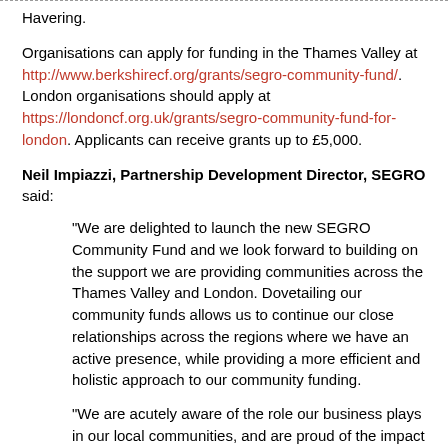Havering.
Organisations can apply for funding in the Thames Valley at http://www.berkshirecf.org/grants/segro-community-fund/. London organisations should apply at https://londoncf.org.uk/grants/segro-community-fund-for-london. Applicants can receive grants up to £5,000.
Neil Impiazzi, Partnership Development Director, SEGRO said:
“We are delighted to launch the new SEGRO Community Fund and we look forward to building on the support we are providing communities across the Thames Valley and London. Dovetailing our community funds allows us to continue our close relationships across the regions where we have an active presence, while providing a more efficient and holistic approach to our community funding.
“We are acutely aware of the role our business plays in our local communities, and are proud of the impact we have made to date. The SEGRO Community Fund gives